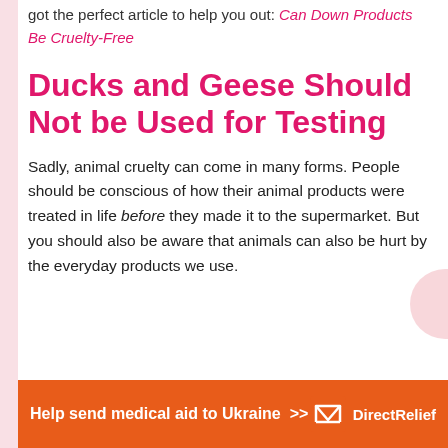got the perfect article to help you out: Can Down Products Be Cruelty-Free
Ducks and Geese Should Not be Used for Testing
Sadly, animal cruelty can come in many forms. People should be conscious of how their animal products were treated in life before they made it to the supermarket. But you should also be aware that animals can also be hurt by the everyday products we use.
[Figure (infographic): Orange banner advertisement: Help send medical aid to Ukraine >> with Direct Relief logo]